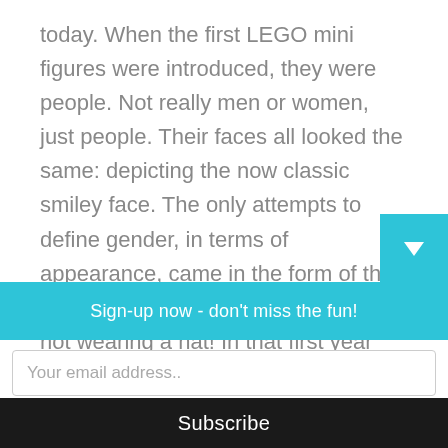today. When the first LEGO mini figures were introduced, they were people. Not really men or women, just people. Their faces all looked the same: depicting the now classic smiley face. The only attempts to define gender, in terms of appearance, came in the form of the hair piece they had on if they were not wearing a hat! In that first year there were four ‘female’ mini figures released: they had hair with pigtails. If they were wearing a hat, you could quite happily identify that knight, policeman or astronaut as male or female
Sign-up now - don't miss the fun!
Your email address..
Subscribe